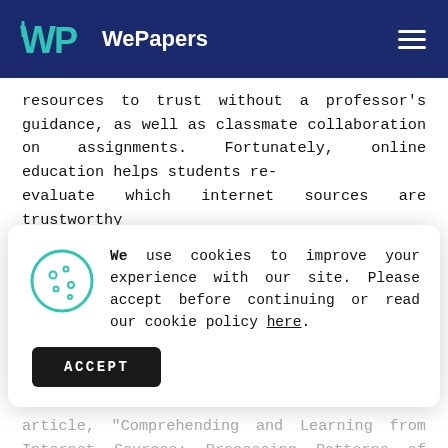WePapers
resources to trust without a professor's guidance, as well as classmate collaboration on assignments. Fortunately, online education helps students re-evaluate which internet sources are trustworthy
[Figure (screenshot): Cookie consent dialog with cookie icon, text 'We use cookies to improve your experience with our site. Please accept before continuing or read our cookie policy here.', and an ACCEPT button]
credible in and out of an academic setting. As noted in Susan R. Goldman and associates' article, "Comprehending and Learning from Internet Sources: Processing Patterns of Better and Poorer Learners,"